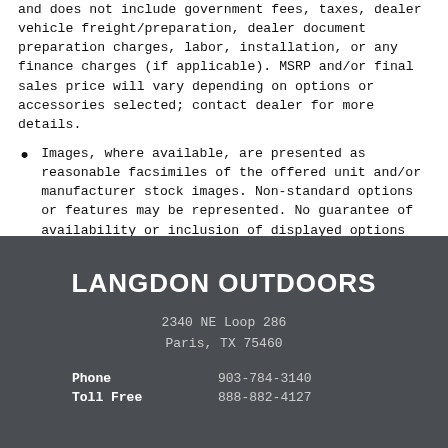and does not include government fees, taxes, dealer vehicle freight/preparation, dealer document preparation charges, labor, installation, or any finance charges (if applicable). MSRP and/or final sales price will vary depending on options or accessories selected; contact dealer for more details.
Images, where available, are presented as reasonable facsimiles of the offered unit and/or manufacturer stock images. Non-standard options or features may be represented. No guarantee of availability or inclusion of displayed options should be inferred; contact dealer for more details.
LANGDON OUTDOORS
2340 NE Loop 286
Paris, TX 75460
|  |  |
| --- | --- |
| Phone | 903-784-3140 |
| Toll Free | 888-882-4127 |